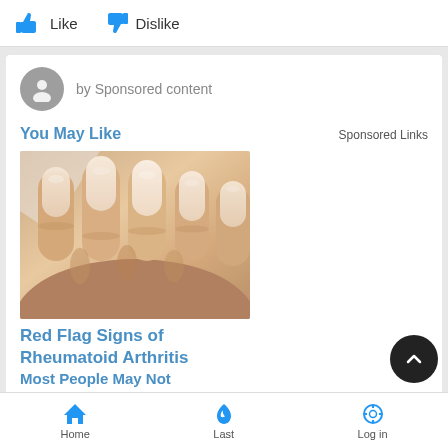[Figure (screenshot): Like and Dislike buttons with thumbs up and thumbs down icons in blue]
by Sponsored content
You May Like
Sponsored Links
[Figure (photo): Close-up photo of a hand with fingernails, illustrating signs of rheumatoid arthritis]
Red Flag Signs of Rheumatoid Arthritis Most People May Not
[Figure (other): Scroll-to-top button, dark circle with upward chevron]
Home   Last   Log in